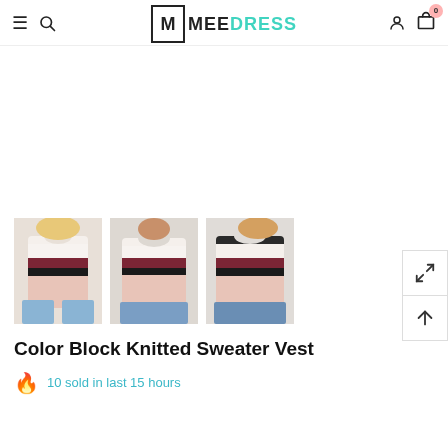MEE DRESS — navigation header with hamburger menu, search icon, logo, user icon, cart (0)
[Figure (photo): Main large product image area (blank/white) for Color Block Knitted Sweater Vest]
[Figure (photo): Three thumbnail photos of Color Block Knitted Sweater Vest — front view with stripes (white/burgundy/black/pink), front facing view, and side/back view with jeans]
Color Block Knitted Sweater Vest
10 sold in last 15 hours